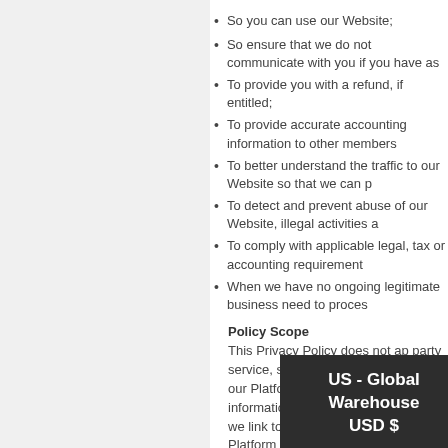So you can use our Website;
So ensure that we do not communicate with you if you have as
To provide you with a refund, if entitled;
To provide accurate accounting information to other members
To better understand the traffic to our Website so that we can p
To detect and prevent abuse of our Website, illegal activities a
To comply with applicable legal, tax or accounting requirement
When we have no ongoing legitimate business need to proces
Policy Scope
This Privacy Policy does not ap party service, such as social m content on our Platform). Disclosure of information to these content, even if we link to those services from our Platform o
VidaBox LLC is a data controller and is compliant with all re purposes of managing their contacts and customers.
Revisions To This Policy
We may modify this Privacy Policy from time to time. When we make any material change to this policy, we will provide a
Security
We are committed to ensuring that your information is secure. In o procedures to safeguard and secure the information we collect on